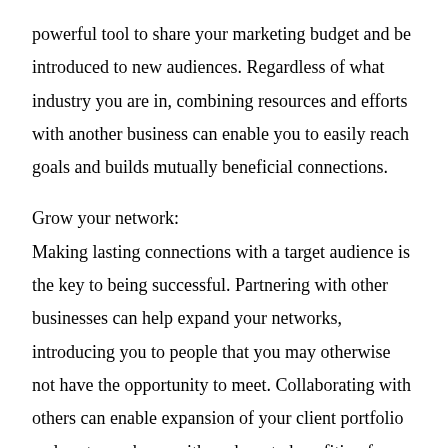powerful tool to share your marketing budget and be introduced to new audiences. Regardless of what industry you are in, combining resources and efforts with another business can enable you to easily reach goals and builds mutually beneficial connections.
Grow your network:
Making lasting connections with a target audience is the key to being successful. Partnering with other businesses can help expand your networks, introducing you to people that you may otherwise not have the opportunity to meet. Collaborating with others can enable expansion of your client portfolio and customer base, with each party benefiting from the other’s audience.
Educational:
One of the biggest benefits of business collaboration is the